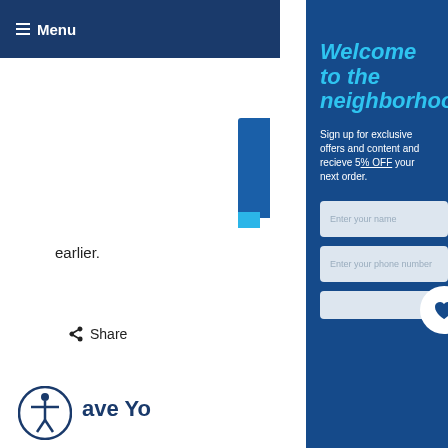≡ Menu
earlier.
⬆ Share
Welcome to the neighborhood.
Sign up for exclusive offers and content and recieve 5% OFF your next order.
Enter your name
Enter your phone number